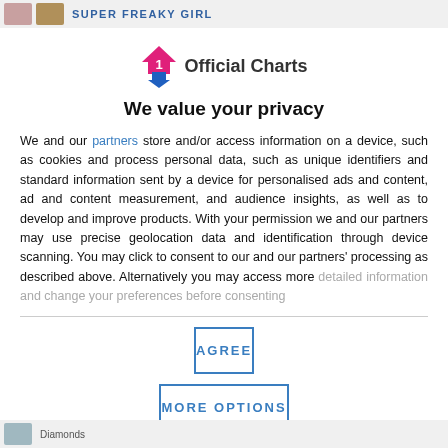SUPER FREAKY GIRL
[Figure (logo): Official Charts logo with pink/magenta upward arrow and blue downward arrow badge, followed by 'Official Charts' text in bold]
We value your privacy
We and our partners store and/or access information on a device, such as cookies and process personal data, such as unique identifiers and standard information sent by a device for personalised ads and content, ad and content measurement, and audience insights, as well as to develop and improve products. With your permission we and our partners may use precise geolocation data and identification through device scanning. You may click to consent to our and our partners' processing as described above. Alternatively you may access more detailed information and change your preferences before consenting
AGREE
MORE OPTIONS
Diamonds